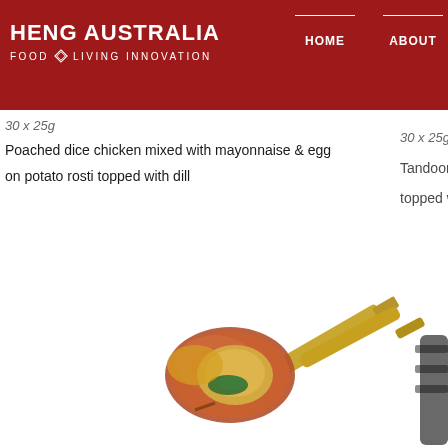HENG AUSTRALIA FOOD & LIVING INNOVATION | HOME | ABOUT
30 x 25g
Poached dice chicken mixed with mayonnaise & egg
on potato rosti topped with dill
30 x 25g
Tandoori & natura
topped with caram
[Figure (photo): Food product photo showing a copper-wrapped item on a spoon with a gold handle, and partially visible dark item on right side]